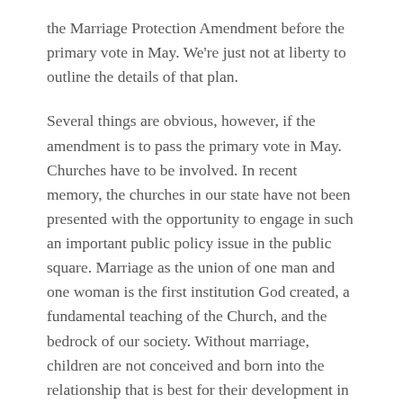the Marriage Protection Amendment before the primary vote in May. We're just not at liberty to outline the details of that plan.
Several things are obvious, however, if the amendment is to pass the primary vote in May. Churches have to be involved. In recent memory, the churches in our state have not been presented with the opportunity to engage in such an important public policy issue in the public square. Marriage as the union of one man and one woman is the first institution God created, a fundamental teaching of the Church, and the bedrock of our society. Without marriage, children are not conceived and born into the relationship that is best for their development in every way.